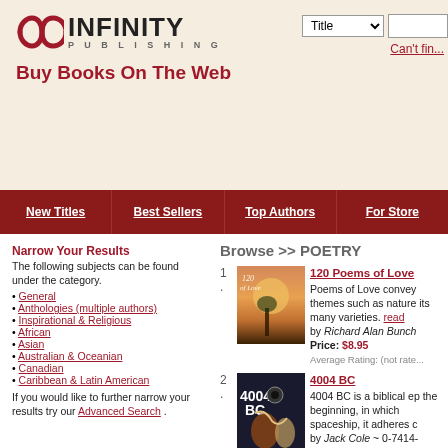[Figure (logo): Infinity Publishing logo with infinity symbol and text]
Buy Books On The Web
Can't fin...
New Titles | Best Sellers | Top Authors | For Store
Narrow Your Results
The following subjects can be found under the category.
General
Anthologies (multiple authors)
Inspirational & Religious
African
Asian
Australian & Oceanian
Canadian
Caribbean & Latin American
If you would like to further narrow your results try our Advanced Search .
Browse >> POETRY
[Figure (photo): Book cover for 120 Poems of Love by Richard Alan Bunch]
120 Poems of Love
Poems of Love convey themes such as nature its many varieties. read
by Richard Alan Bunch
Price: $8.95
Average Rating: (not rate...
[Figure (photo): Book cover for 4004 BC by Jack Cole]
4004 BC
4004 BC is a biblical ep the beginning, in which spaceship, it adheres c
by Jack Cole ~ 0-7414-
Price: $10.95
Average Rating: